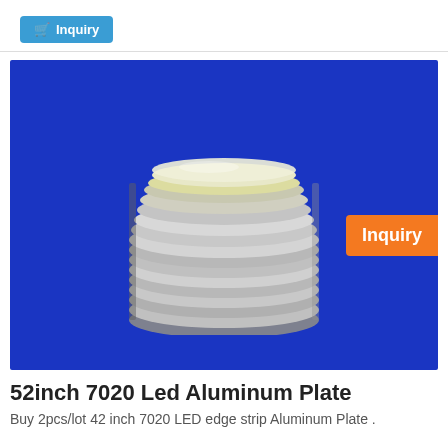[Figure (other): Blue shopping cart inquiry button at top left]
[Figure (photo): Product photo on blue background showing a stack of silver/aluminum circular plates (52inch 7020 Led Aluminum Plate) with an orange Inquiry badge overlay in the upper right area of the image]
52inch 7020 Led Aluminum Plate
Buy 2pcs/lot 42 inch 7020 LED edge strip Aluminum Plate .